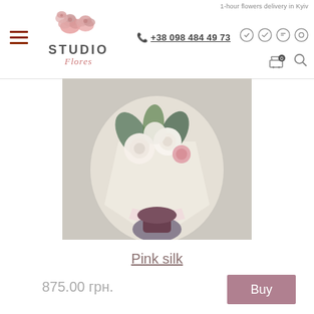1-hour flowers delivery in Kyiv
[Figure (logo): Studio Flores flower shop logo with pink peony illustration above the text STUDIO Flores]
+38 098 484 49 73
[Figure (photo): Hand holding a bouquet of white and pink roses wrapped in white transparent paper with pink ribbon, green leaves background]
Pink silk
875.00 грн.
Buy